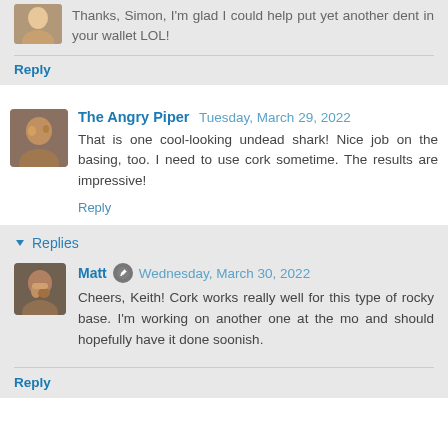Thanks, Simon, I'm glad I could help put yet another dent in your wallet LOL!
Reply
The Angry Piper  Tuesday, March 29, 2022
That is one cool-looking undead shark! Nice job on the basing, too. I need to use cork sometime. The results are impressive!
Reply
Replies
Matt  Wednesday, March 30, 2022
Cheers, Keith! Cork works really well for this type of rocky base. I'm working on another one at the mo and should hopefully have it done soonish.
Reply